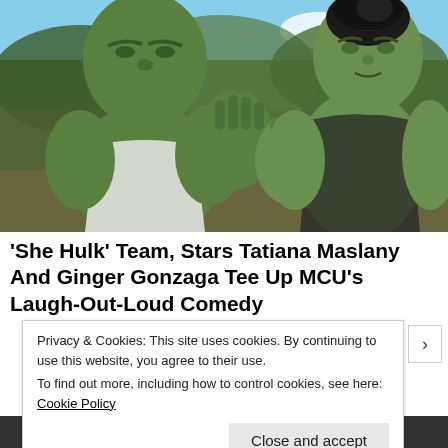[Figure (photo): Two large green-skinned CGI characters (Hulk and She-Hulk) facing each other with hands pressed together in a training pose, outdoors with greenery and blue sky in background.]
'She Hulk' Team, Stars Tatiana Maslany And Ginger Gonzaga Tee Up MCU's Laugh-Out-Loud Comedy
Privacy & Cookies: This site uses cookies. By continuing to use this website, you agree to their use.
To find out more, including how to control cookies, see here: Cookie Policy
Close and accept
DuckDuckGo